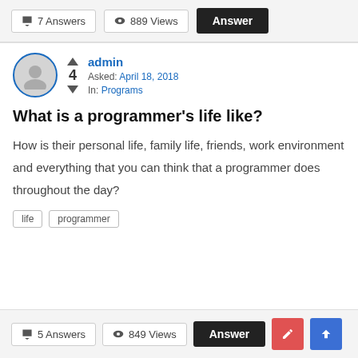7 Answers  889 Views  Answer
admin
Asked: April 18, 2018
In: Programs
What is a programmer's life like?
How is their personal life, family life, friends, work environment and everything that you can think that a programmer does throughout the day?
life
programmer
5 Answers  849 Views  Answer